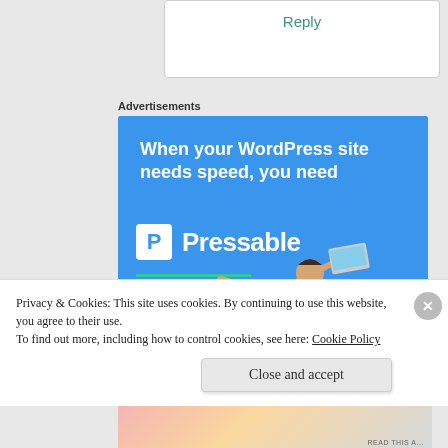Reply
Advertisements
[Figure (illustration): Pressable WordPress hosting advertisement banner. Blue background with text 'When your WordPress site needs speed, you need Pressable' and a person flying with a laptop, plus a 'START NOW' button.]
Privacy & Cookies: This site uses cookies. By continuing to use this website, you agree to their use.
To find out more, including how to control cookies, see here: Cookie Policy
Close and accept